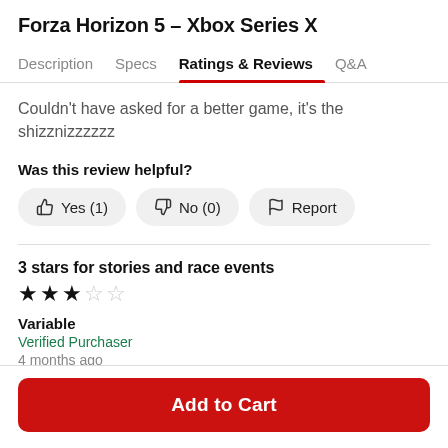Forza Horizon 5 – Xbox Series X
Description | Specs | Ratings & Reviews | Q&A
Couldn't have asked for a better game, it's the shizznizzzzzz
Was this review helpful?
Yes (1) | No (0) | Report
3 stars for stories and race events
★★★☆☆
Variable
Verified Purchaser
4 months ago
Add to Cart